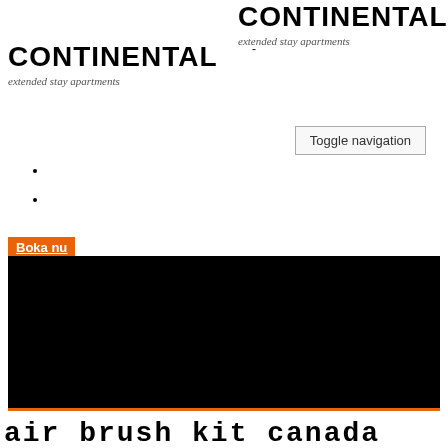[Figure (logo): Continental extended stay apartments logo — top right, large bold CONTINENTAL text with cursive extended stay apartments tagline]
[Figure (logo): Continental extended stay apartments logo — left side, large bold CONTINENTAL text with cursive extended stay apartments tagline, small dash to the right]
Toggle navigation
Boka nu
[Figure (other): Large black rectangle with orange bottom border]
air brush kit canada